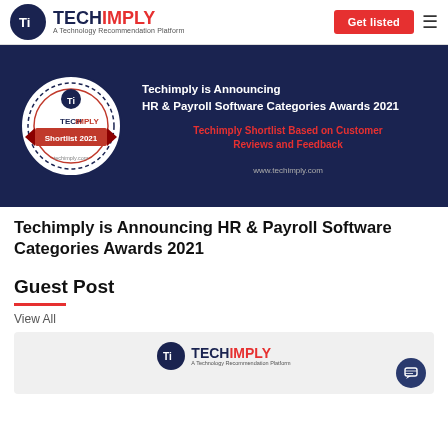TECHIMPLY – A Technology Recommendation Platform | Get listed
[Figure (illustration): Techimply banner for HR & Payroll Software Categories Awards 2021, showing a circular badge/logo on the left and text on the right on dark navy background]
Techimply is Announcing HR & Payroll Software Categories Awards 2021
Guest Post
View All
[Figure (logo): Techimply logo – A Technology Recommendation Platform – shown at the bottom of the page in a light grey card]